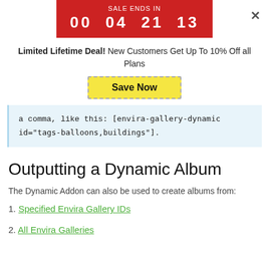[Figure (infographic): Red sale countdown banner showing SALE ENDS IN 00 04 21 13]
Limited Lifetime Deal! New Customers Get Up To 10% Off all Plans
[Figure (other): Yellow dashed-border Save Now button]
a comma, like this: [envira-gallery-dynamic id="tags-balloons,buildings"].
Outputting a Dynamic Album
The Dynamic Addon can also be used to create albums from:
1. Specified Envira Gallery IDs
2. All Envira Galleries